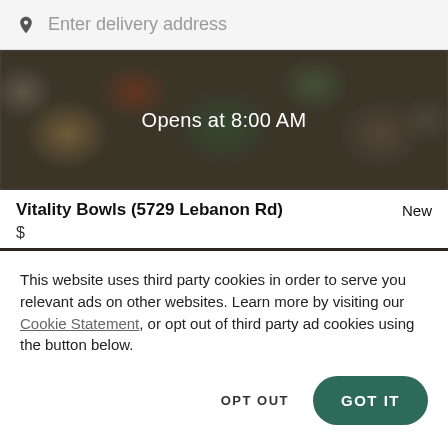Enter delivery address
[Figure (photo): Food delivery app hero image showing various bowls of food with a dark overlay. Text reads 'Opens at 8:00 AM']
Vitality Bowls (5729 Lebanon Rd)
New
$
This website uses third party cookies in order to serve you relevant ads on other websites. Learn more by visiting our Cookie Statement, or opt out of third party ad cookies using the button below.
OPT OUT
GOT IT